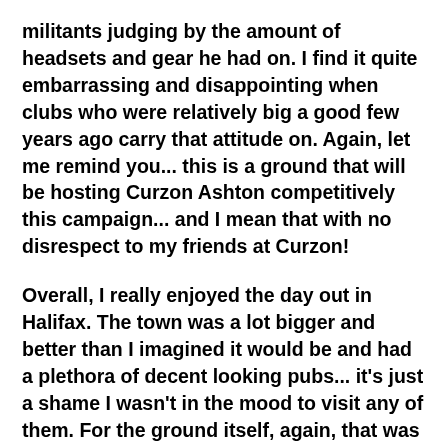militants judging by the amount of headsets and gear he had on. I find it quite embarrassing and disappointing when clubs who were relatively big a good few years ago carry that attitude on. Again, let me remind you... this is a ground that will be hosting Curzon Ashton competitively this campaign... and I mean that with no disrespect to my friends at Curzon!
Overall, I really enjoyed the day out in Halifax. The town was a lot bigger and better than I imagined it would be and had a plethora of decent looking pubs... it's just a shame I wasn't in the mood to visit any of them. For the ground itself, again, that was far bigger and better than I imagined it would be... and it even had the added bonus of having loads of trees and bushes in the far corner to make it still a little bit